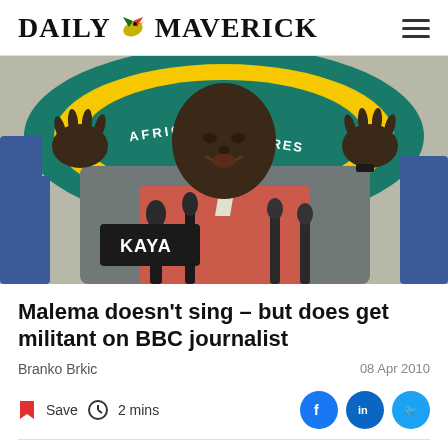DAILY MAVERICK
[Figure (photo): Man in grey suit jacket and red/salmon shirt speaking at a press conference with raised hands, microphones including a KAYA branded mic in foreground, African National Congress logo/backdrop visible behind him]
Malema doesn't sing – but does get militant on BBC journalist
Branko Brkic
08 Apr 2010
Save  2 mins